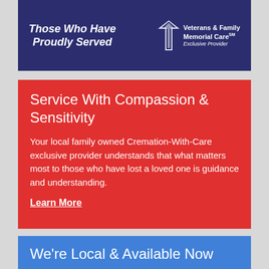[Figure (other): Dark navy blue banner with italic white bold text reading 'Those Who Have Proudly Served' on the left, and a logo with white angular arrow/star shape plus text 'Veterans & Family Memorial Care Exclusive Provider' on the right]
Service With Compassion & Sensitivity
Your local family owned Cremation-With-Care exclusive provider understands that what matters most to those who have lost a loved one is guidance and understanding.
Learn More
We're Local & Available Now
If you have just experienced the death of a family member or friend please accept our sincere condolences. We are available 24/7/365 to respond